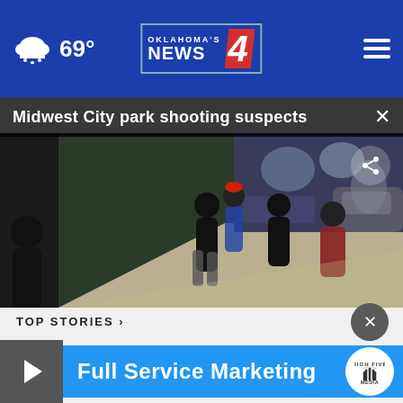Oklahoma's News 4 — 69°
Midwest City park shooting suspects
[Figure (screenshot): Surveillance camera footage showing several people walking along a sidewalk at night near a wall with murals]
TOP STORIES ›
[Figure (screenshot): Advertisement banner reading Full Service Marketing with High Five Media logo]